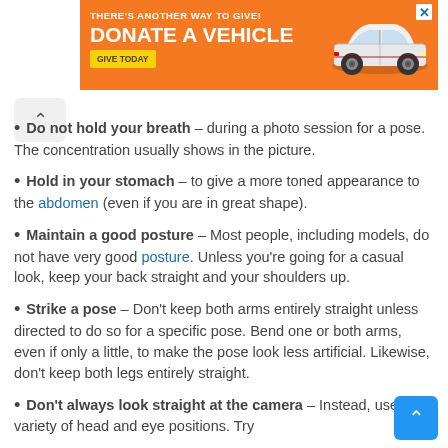[Figure (other): Orange advertisement banner: THERE'S ANOTHER WAY TO GIVE! DONATE A VEHICLE GIVE TODAY with a white car illustration]
Do not hold your breath – during a photo session for a pose. The concentration usually shows in the picture.
Hold in your stomach – to give a more toned appearance to the abdomen (even if you are in great shape).
Maintain a good posture – Most people, including models, do not have very good posture. Unless you're going for a casual look, keep your back straight and your shoulders up.
Strike a pose – Don't keep both arms entirely straight unless directed to do so for a specific pose. Bend one or both arms, even if only a little, to make the pose look less artificial. Likewise, don't keep both legs entirely straight.
Don't always look straight at the camera – Instead, use a variety of head and eye positions. Try